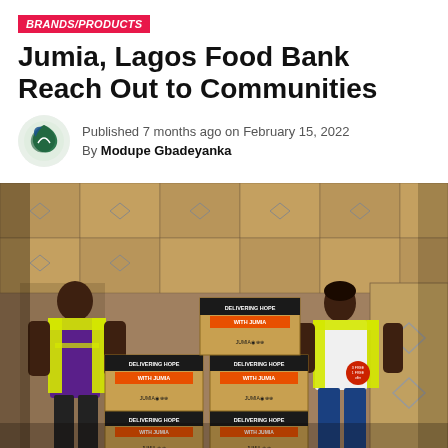BRANDS/PRODUCTS
Jumia, Lagos Food Bank Reach Out to Communities
Published 7 months ago on February 15, 2022
By Modupe Gbadeyanka
[Figure (photo): Two workers in yellow safety vests stacking cardboard boxes labeled 'Delivering Hope With Jumia' with Jumia and food bank logos, surrounded by more cardboard boxes in a warehouse setting.]